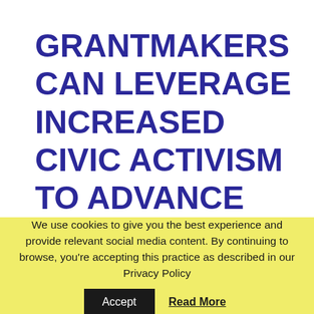GRANTMAKERS CAN LEVERAGE INCREASED CIVIC ACTIVISM TO ADVANCE DEMOCRACY, EQUITY
We use cookies to give you the best experience and provide relevant social media content. By continuing to browse, you're accepting this practice as described in our Privacy Policy